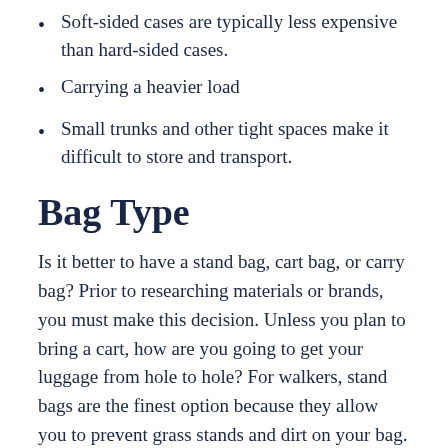Soft-sided cases are typically less expensive than hard-sided cases.
Carrying a heavier load
Small trunks and other tight spaces make it difficult to store and transport.
Bag Type
Is it better to have a stand bag, cart bag, or carry bag? Prior to researching materials or brands, you must make this decision. Unless you plan to bring a cart, how are you going to get your luggage from hole to hole? For walkers, stand bags are the finest option because they allow you to prevent grass stands and dirt on your bag.
Material
Nylon is a popular choice in some materials...